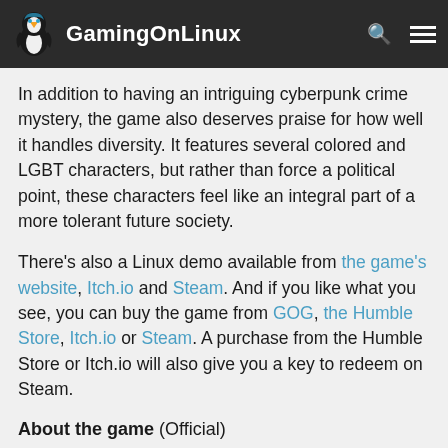GamingOnLinux
In addition to having an intriguing cyberpunk crime mystery, the game also deserves praise for how well it handles diversity. It features several colored and LGBT characters, but rather than force a political point, these characters feel like an integral part of a more tolerant future society.
There's also a Linux demo available from the game's website, Itch.io and Steam. And if you like what you see, you can buy the game from GOG, the Humble Store, Itch.io or Steam. A purchase from the Humble Store or Itch.io will also give you a key to redeem on Steam.
About the game (Official)
Neo-San Francisco, 2064 AD. Your life as a struggling